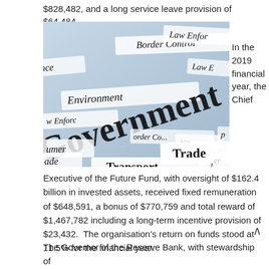$828,482, and a long service leave provision of $64,484.
[Figure (photo): Collage of paper strips with government-related words: Government, Border Control, Law Enforcement, Environment, Trade, Transport, Consumer, Policy]
In the 2019 financial year, the Chief
Executive of the Future Fund, with oversight of $162.4 billion in invested assets, received fixed remuneration of $648,591, a bonus of $770,759 and total reward of $1,467,782 including a long-term incentive provision of $23,432.  The organisation's return on funds stood at 11.5% for the financial year.
The Governor of the Reserve Bank, with stewardship of